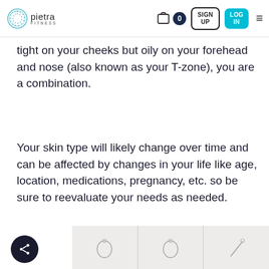pietra FITNESS | SIGN UP | LOG IN
tight on your cheeks but oily on your forehead and nose (also known as your T-zone), you are a combination.
Your skin type will likely change over time and can be affected by changes in your life like age, location, medications, pregnancy, etc. so be sure to reevaluate your needs as needed.
[Figure (photo): Share button icon and a product image strip showing three panels with small circular jewelry or ring items on a light gray background]